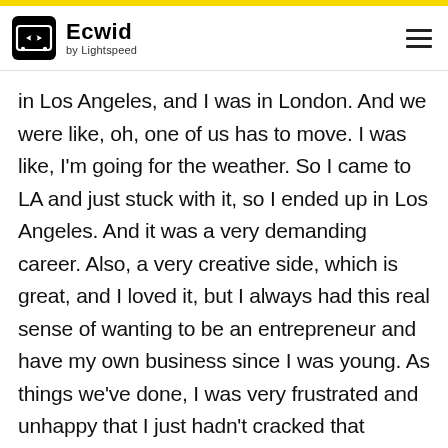Ecwid by Lightspeed
in Los Angeles, and I was in London. And we were like, oh, one of us has to move. I was like, I'm going for the weather. So I came to LA and just stuck with it, so I ended up in Los Angeles. And it was a very demanding career. Also, a very creative side, which is great, and I loved it, but I always had this real sense of wanting to be an entrepreneur and have my own business since I was young. As things we've done, I was very frustrated and unhappy that I just hadn't cracked that nugget. Anybody who is an entrepreneur I was jealous of when